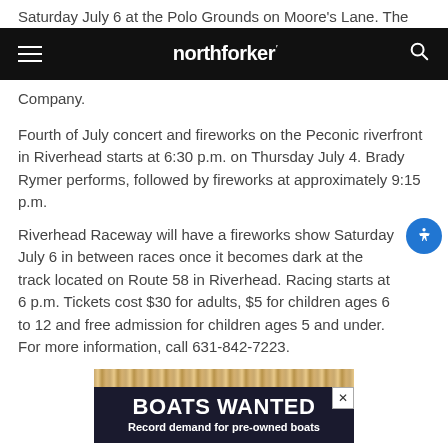Saturday July 6 at the Polo Grounds on Moore's Lane. The
[Figure (screenshot): Northforker website navigation bar with hamburger menu icon on left, 'northforker' logo in center, and search icon on right, on black background]
Company.
Fourth of July concert and fireworks on the Peconic riverfront in Riverhead starts at 6:30 p.m. on Thursday July 4. Brady Rymer performs, followed by fireworks at approximately 9:15 p.m.
Riverhead Raceway will have a fireworks show Saturday July 6 in between races once it becomes dark at the track located on Route 58 in Riverhead. Racing starts at 6 p.m. Tickets cost $30 for adults, $5 for children ages 6 to 12 and free admission for children ages 5 and under. For more information, call 631-842-7223.
[Figure (screenshot): Advertisement with rope border graphic at top and text 'BOATS WANTED' and 'Record demand for pre-owned boats' on dark navy background]